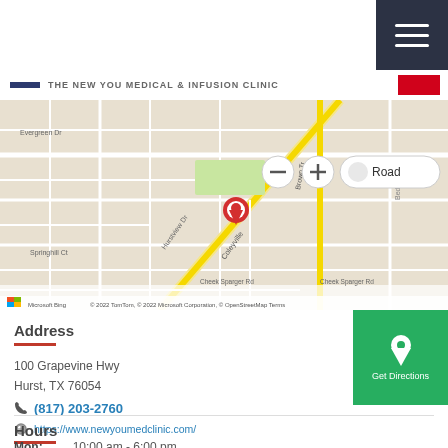THE NEW YOU MEDICAL & INFUSION CLINIC
[Figure (map): Bing Maps street map showing location pin at 100 Grapevine Hwy, Hurst TX area. Shows Evergreen Dr, Hurstview Dr, Springhill Ct, Coleyville road, Brown Trail. Scale bar shows 2500 feet / 500 m. Zoom controls and Road view toggle visible. Microsoft Bing / TomTom / OpenStreetMap copyright 2022.]
Address
100 Grapevine Hwy
Hurst, TX 76054
(817) 203-2760
https://www.newyoumedclinic.com/
Hours
Mon: 10:00 am - 6:00 pm